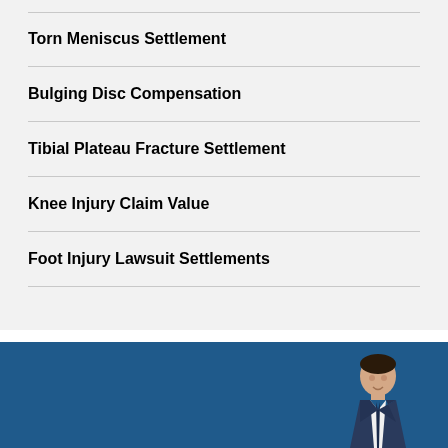Torn Meniscus Settlement
Bulging Disc Compensation
Tibial Plateau Fracture Settlement
Knee Injury Claim Value
Foot Injury Lawsuit Settlements
[Figure (photo): Blue banner with a man in a suit, partial portrait photo at bottom right]